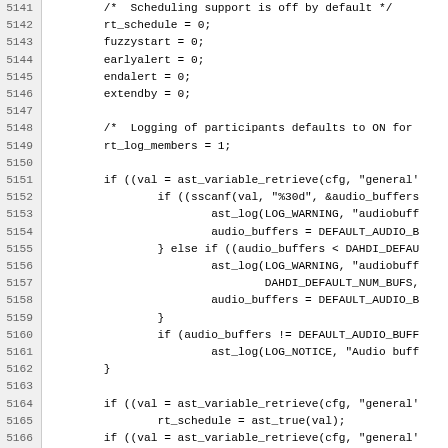[Figure (other): Source code listing showing C code lines 5141-5172, including scheduling support initialization, logging defaults, and variable retrieval for audio buffer and fuzzystart configuration.]